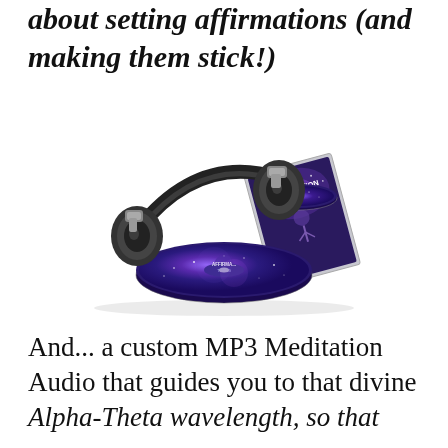about setting affirmations (and making them stick!)
[Figure (illustration): Product image showing headphones and two CDs/discs with 'Soul Affirmation Tuning' branding on a purple/galaxy themed background]
And... a custom MP3 Meditation Audio that guides you to that divine Alpha-Theta wavelength, so that you